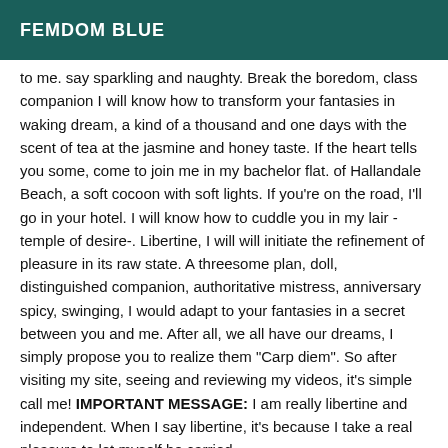FEMDOM BLUE
to me. say sparkling and naughty. Break the boredom, class companion I will know how to transform your fantasies in waking dream, a kind of a thousand and one days with the scent of tea at the jasmine and honey taste. If the heart tells you some, come to join me in my bachelor flat. of Hallandale Beach, a soft cocoon with soft lights. If you're on the road, I'll go in your hotel. I will know how to cuddle you in my lair -temple of desire-. Libertine, I will will initiate the refinement of pleasure in its raw state. A threesome plan, doll, distinguished companion, authoritative mistress, anniversary spicy, swinging, I would adapt to your fantasies in a secret between you and me. After all, we all have our dreams, I simply propose you to realize them "Carp diem". So after visiting my site, seeing and reviewing my videos, it's simple call me! IMPORTANT MESSAGE: I am really libertine and independent. When I say libertine, it's because I take a real pleasure to let myself be carried